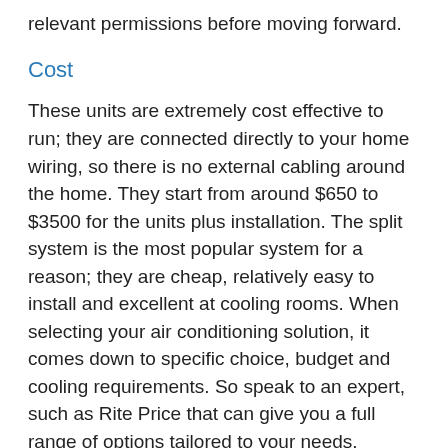relevant permissions before moving forward.
Cost
These units are extremely cost effective to run; they are connected directly to your home wiring, so there is no external cabling around the home. They start from around $650 to $3500 for the units plus installation. The split system is the most popular system for a reason; they are cheap, relatively easy to install and excellent at cooling rooms. When selecting your air conditioning solution, it comes down to specific choice, budget and cooling requirements. So speak to an expert, such as Rite Price that can give you a full range of options tailored to your needs.
To find out more information about air conditioning systems for your property in Adelaide speak with the professional team from Rite Price Heating and Cooling.